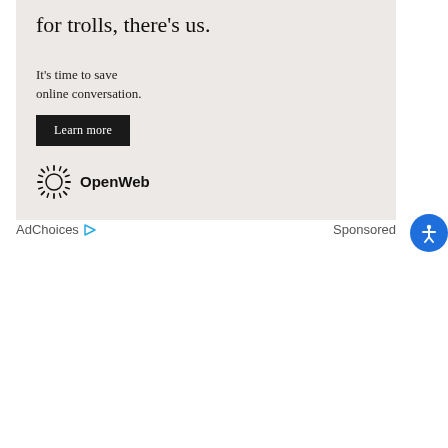[Figure (other): Advertisement for OpenWeb. Shows headline text 'for trolls, there's us.' with subtext 'It's time to save online conversation.' and a 'Learn more' button. OpenWeb logo with sunburst icon at bottom.]
AdChoices  Sponsored